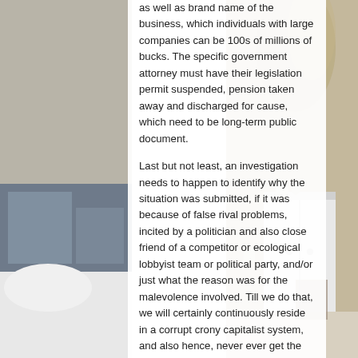[Figure (photo): Background photo of a bedroom interior, with a lamp on the left side and a white cabinet on the right side, with soft neutral tones]
as well as brand name of the business, which individuals with large companies can be 100s of millions of bucks. The specific government attorney must have their legislation permit suspended, pension taken away and discharged for cause, which need to be long-term public document.

Last but not least, an investigation needs to happen to identify why the situation was submitted, if it was because of false rival problems, incited by a politician and also close friend of a competitor or ecological lobbyist team or political party, and/or just what the reason was for the malevolence involved. Till we do that, we will certainly continuously reside in a corrupt crony capitalist system, and also hence, never ever get the perks of all we are and also all we have actually built in this nation of perfects with freedom and freedom for all. Think about it, I have, as well as I am pissed by what I have actually observed.